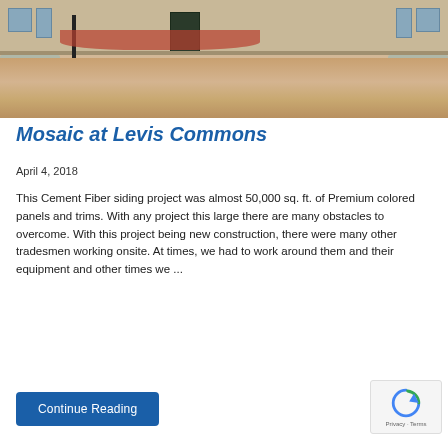[Figure (photo): Exterior photo of Mosaic at Levis Commons building showing decorative concrete driveway/plaza area with red-tinted pavement accents, lamp post, and commercial building facade in background]
Mosaic at Levis Commons
April 4, 2018
This Cement Fiber siding project was almost 50,000 sq. ft. of Premium colored panels and trims. With any project this large there are many obstacles to overcome. With this project being new construction, there were many other tradesmen working onsite. At times, we had to work around them and their equipment and other times we ...